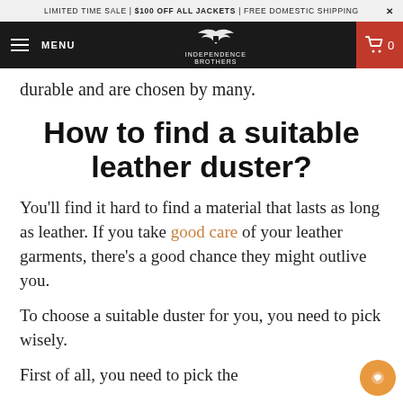LIMITED TIME SALE | $100 OFF ALL JACKETS | FREE DOMESTIC SHIPPING ×
MENU | Independence Brothers | 0
durable and are chosen by many.
How to find a suitable leather duster?
You'll find it hard to find a material that lasts as long as leather. If you take good care of your leather garments, there's a good chance they might outlive you.
To choose a suitable duster for you, you need to pick wisely.
First of all, you need to pick the